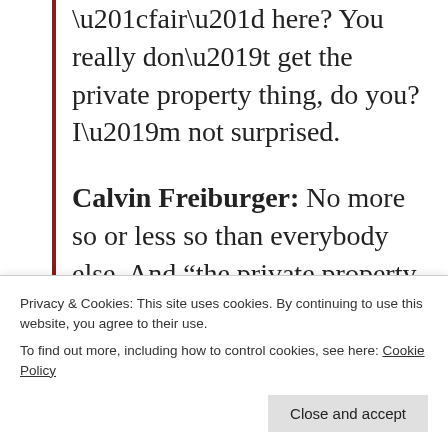“fair” here? You really don’t get the private property thing, do you? I’m not surprised.
Calvin Freiburger: No more so or less so than everybody else. And “the private property thing” is a complete non sequitur to this conversation.
NightTwister: Should be “less so” in your case and mine. This isn’t a public site. This website is privately owned.
Privacy & Cookies: This site uses cookies. By continuing to use this website, you agree to their use.
To find out more, including how to control cookies, see here: Cookie Policy